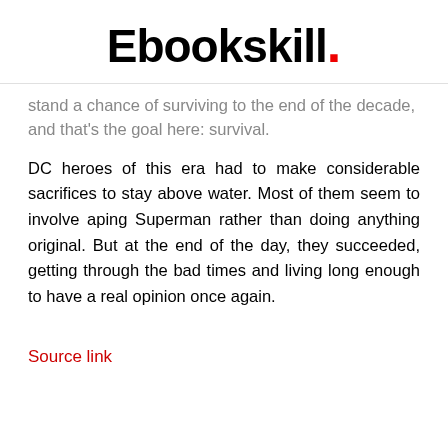Ebookskill.
stand a chance of surviving to the end of the decade, and that's the goal here: survival.
DC heroes of this era had to make considerable sacrifices to stay above water. Most of them seem to involve aping Superman rather than doing anything original. But at the end of the day, they succeeded, getting through the bad times and living long enough to have a real opinion once again.
Source link